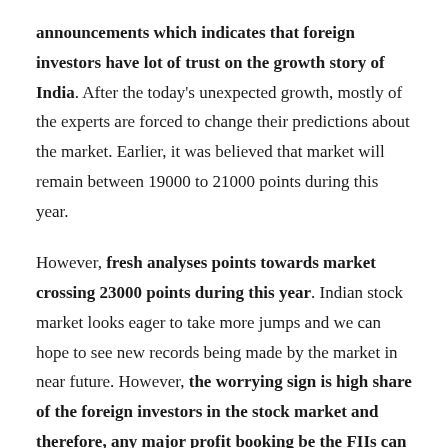announcements which indicates that foreign investors have lot of trust on the growth story of India. After the today's unexpected growth, mostly of the experts are forced to change their predictions about the market. Earlier, it was believed that market will remain between 19000 to 21000 points during this year.
However, fresh analyses points towards market crossing 23000 points during this year. Indian stock market looks eager to take more jumps and we can hope to see new records being made by the market in near future. However, the worrying sign is high share of the foreign investors in the stock market and therefore, any major profit booking be the FIIs can create panic in the India market. In future, there are not many chances of FIIs taking their money off from the India stock market because the growth story of